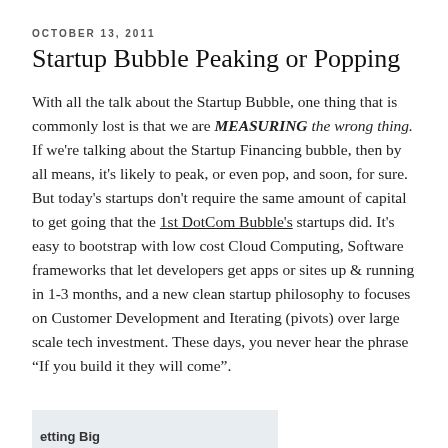OCTOBER 13, 2011
Startup Bubble Peaking or Popping
With all the talk about the Startup Bubble, one thing that is commonly lost is that we are MEASURING the wrong thing.  If we're talking about the Startup Financing bubble, then by all means, it's likely to peak, or even pop, and soon, for sure.  But today's startups don't require the same amount of capital to get going that the 1st DotCom Bubble's startups did.  It's easy to bootstrap with low cost Cloud Computing, Software frameworks that let developers get apps or sites up & running in 1-3 months, and a new clean startup philosophy to focuses on Customer Development and Iterating (pivots) over large scale tech investment.  These days, you never hear the phrase “If you build it they will come”.
[Figure (other): Partial image preview at bottom of page with label 'etting Big']